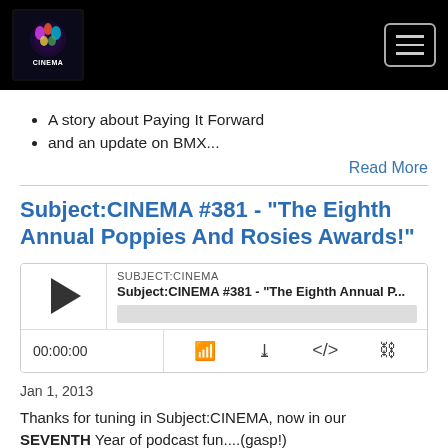Subject:Cinema logo and navigation
A story about Paying It Forward
and an update on BMX...
Read More
Subject:CINEMA #381 - "The Eighth Annual Poppies And Rosies Awards!"
[Figure (screenshot): Podcast audio player widget showing SUBJECT:CINEMA label, episode title 'Subject:CINEMA #381 - "The Eighth Annual P...', play button, progress bar, timestamp 00:00:00, and media control icons]
Jan 1, 2013
Thanks for tuning in Subject:CINEMA, now in our  SEVENTH Year of podcast fun....(gasp!)